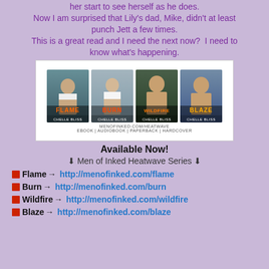her start to see herself as he does.
Now I am surprised that Lily's dad, Mike, didn't at least punch Jett a few times.
This is a great read and I need the next now?  I need to know what's happening.
[Figure (illustration): Four book covers for Men of Inked Heatwave Series by Chelle Bliss: Flame, Burn, Wildfire, Blaze. Below the covers: menofinked.com/heatwave EBOOK | AUDIOBOOK | PAPERBACK | HARDCOVER]
Available Now!
⬇ Men of Inked Heatwave Series ⬇
🟥 Flame → http://menofinked.com/flame
🟥 Burn → http://menofinked.com/burn
🟥 Wildfire → http://menofinked.com/wildfire
🟥 Blaze → http://menofinked.com/blaze